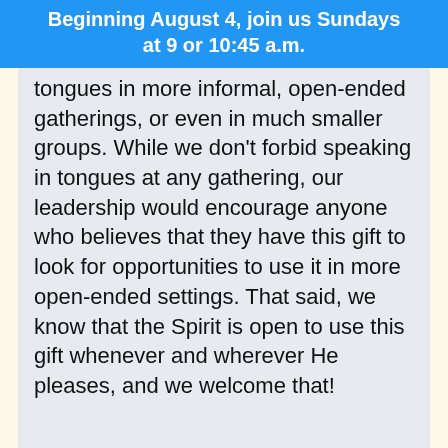Beginning August 4, join us Sundays at 9 or 10:45 a.m.
tongues in more informal, open-ended gatherings, or even in much smaller groups. While we don't forbid speaking in tongues at any gathering, our leadership would encourage anyone who believes that they have this gift to look for opportunities to use it in more open-ended settings. That said, we know that the Spirit is open to use this gift whenever and wherever He pleases, and we welcome that!
What is the proper use